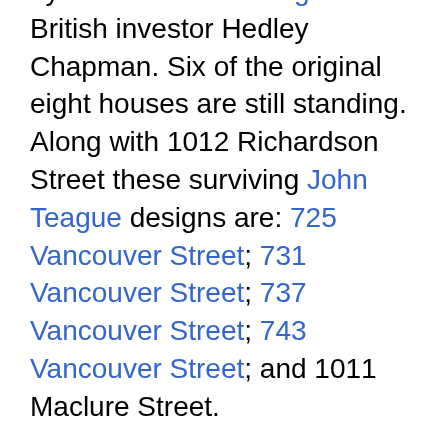by architect John Teague for British investor Hedley Chapman. Six of the original eight houses are still standing. Along with 1012 Richardson Street these surviving John Teague designs are: 725 Vancouver Street; 731 Vancouver Street; 737 Vancouver Street; 743 Vancouver Street; and 1011 Maclure Street.
1012 Richardson Street is listed on the City of Victoria Heritage Register and the Canadian Register of Historic Places.
In 1979 owner Bill Murphy won a Hallmark Society Award for his meticulous restoration of this house.